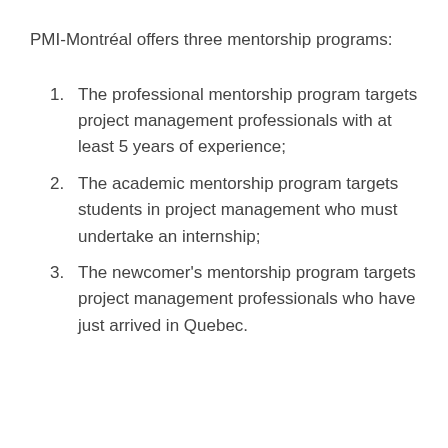PMI-Montréal offers three mentorship programs:
The professional mentorship program targets project management professionals with at least 5 years of experience;
The academic mentorship program targets students in project management who must undertake an internship;
The newcomer's mentorship program targets project management professionals who have just arrived in Quebec.